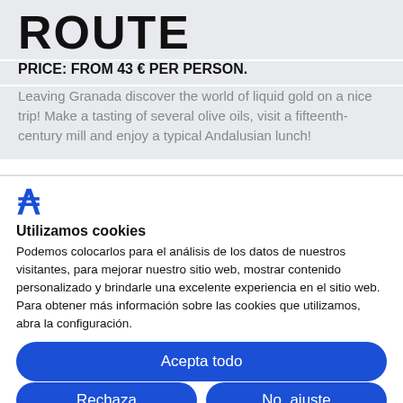ROUTE
PRICE: FROM 43 € PER PERSON.
Leaving Granada discover the world of liquid gold on a nice trip! Make a tasting of several olive oils, visit a fifteenth-century mill and enjoy a typical Andalusian lunch!
[Figure (logo): Cookiebot logo - stylized C with arrow]
Utilizamos cookies
Podemos colocarlos para el análisis de los datos de nuestros visitantes, para mejorar nuestro sitio web, mostrar contenido personalizado y brindarle una excelente experiencia en el sitio web. Para obtener más información sobre las cookies que utilizamos, abra la configuración.
Acepta todo
Rechaza
No, ajuste